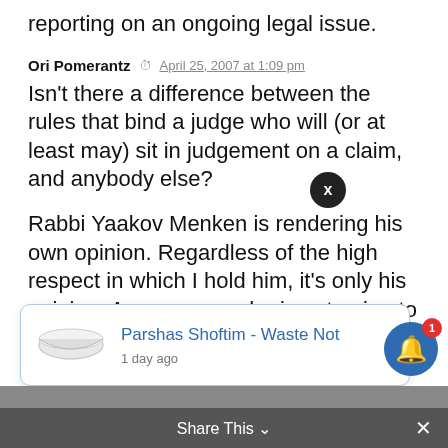reporting on an ongoing legal issue.
Ori Pomerantz   April 25, 2007 at 1:09 pm
Isn't there a difference between the rules that bind a judge who will (or at least may) sit in judgement on a claim, and anybody else?
Rabbi Yaakov Menken is rendering his own opinion. Regardless of the high respect in which I hold him, it's only his opinion. As a person who is not going to judge this matter, he may have and express opinions. This opinion may be based on the most reliable sources, because he is too busy to research the matter in depth.
[Figure (screenshot): Popup notification card showing a bowl image with title 'Parshas Shoftim - Waste Not' and timestamp '1 day ago']
reliable sources of information possible. An e-